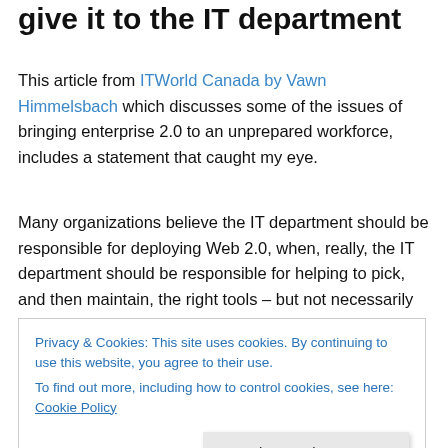give it to the IT department
This article from ITWorld Canada by Vawn Himmelsbach which discusses some of the issues of bringing enterprise 2.0 to an unprepared workforce, includes a statement that caught my eye.
Many organizations believe the IT department should be responsible for deploying Web 2.0, when, really, the IT department should be responsible for helping to pick, and then maintain, the right tools – but not necessarily defining the business case or driving their use.
Privacy & Cookies: This site uses cookies. By continuing to use this website, you agree to their use.
To find out more, including how to control cookies, see here: Cookie Policy
Close and accept
real drivers should come from the business side of the